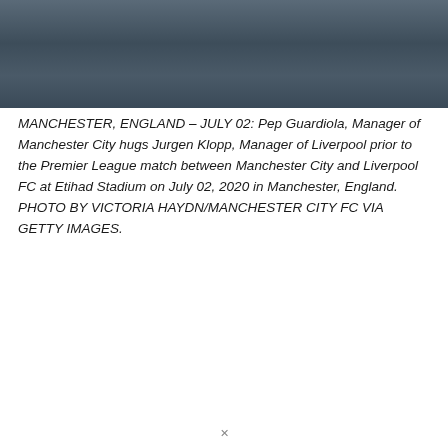[Figure (photo): Close-up photograph of two people in dark jackets, appearing to embrace or stand close together. The image is cropped showing mainly torsos and shoulders against a blurred background.]
MANCHESTER, ENGLAND – JULY 02: Pep Guardiola, Manager of Manchester City hugs Jurgen Klopp, Manager of Liverpool prior to the Premier League match between Manchester City and Liverpool FC at Etihad Stadium on July 02, 2020 in Manchester, England. PHOTO BY VICTORIA HAYDN/MANCHESTER CITY FC VIA GETTY IMAGES.